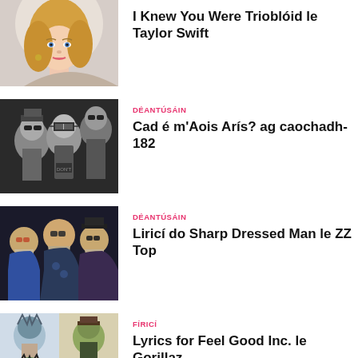[Figure (photo): Taylor Swift blonde hair close-up portrait]
I Knew You Were Trioblóid le Taylor Swift
[Figure (photo): Blink-182 band members in black and white photo]
DÉANTÚSÁIN
Cad é m'Aois Arís? ag caochadh-182
[Figure (photo): ZZ Top band members with long beards]
DÉANTÚSÁIN
Liricí do Sharp Dressed Man le ZZ Top
[Figure (illustration): Gorillaz animated band characters in grid]
FÍRICÍ
Lyrics for Feel Good Inc. le Gorillaz